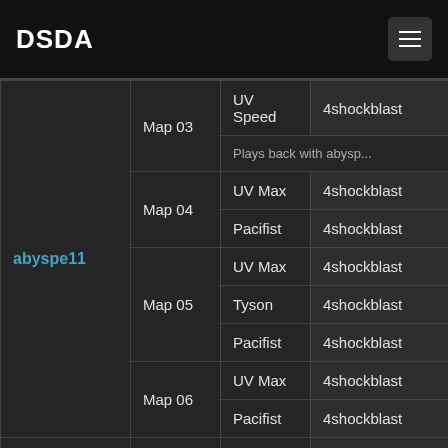DSDA
| Wad | Map | Category | Player |
| --- | --- | --- | --- |
| abyspe11 | Map 03 | UV Speed | 4shockblast |
|  |  |  | Plays back with abyspe... |
|  | Map 04 | UV Max | 4shockblast |
|  |  | Pacifist | 4shockblast |
|  | Map 05 | UV Max | 4shockblast |
|  |  | Tyson | 4shockblast |
|  |  | Pacifist | 4shockblast |
|  | Map 06 | UV Max | 4shockblast |
|  |  | Pacifist | 4shockblast |
| abyspe13 | Map 01 | UV Max | 4shockblast |
|  |  |  | 4shockblast |